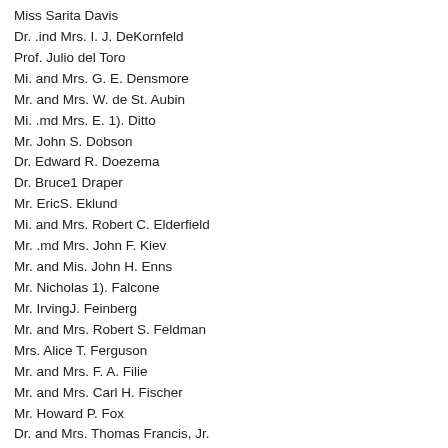Miss Sarita Davis
Dr. .ind Mrs. I. J. DeKornfeld
Prof. Julio del Toro
Mi. and Mrs. G. E. Densmore
Mr. and Mrs. W. de St. Aubin
Mi. .md Mrs. E. 1). Ditto
Mr. John S. Dobson
Dr. Edward R. Doezema
Dr. Bruce1 Draper
Mr. EricS. Eklund
Mi. and Mrs. Robert C. Elderfield
Mr. .md Mrs. John F. Kiev
Mr. and Mis. John H. Enns
Mr. Nicholas 1). Falcone
Mr. IrvingJ. Feinberg
Mr. and Mrs. Robert S. Feldman
Mrs. Alice T. Ferguson
Mr. and Mrs. F. A. Filie
Mr. and Mrs. Carl H. Fischer
Mr. Howard P. Fox
Dr. and Mrs. Thomas Francis, Jr.
Mrs. William A. Frayer
Mrs. Charles C. Fries
Mr. and Mrs. Victor Gallatin